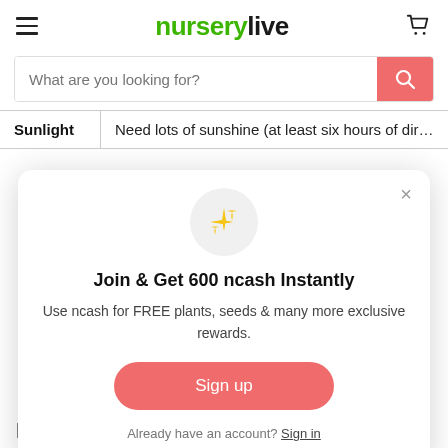nurserylive
[Figure (screenshot): Search bar with placeholder text 'What are you looking for?' and a coral/salmon colored search button with magnifying glass icon]
| Sunlight |  |
| --- | --- |
| Sunlight | Need lots of sunshine (at least six hours of direct sunlig |
[Figure (screenshot): Modal popup with sparkle emoji icon, title 'Join & Get 600 ncash Instantly', description text, Sign up button, and Sign in link]
Phlox Uses